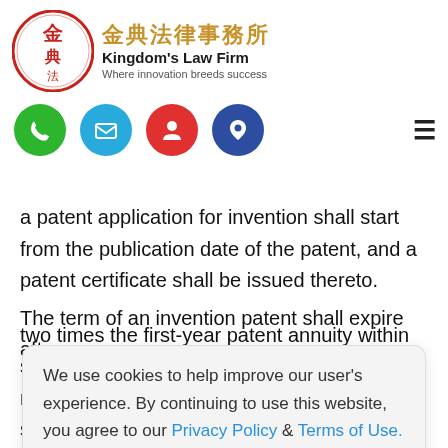months after the date on which the approval decision is received. If the fees are not paid within the said time limit, the application shall be made.
[Figure (logo): Kingdom's Law Firm logo with Chinese characters 金典法律事務所, red circular emblem, tagline: Where innovation breeds success]
[Figure (infographic): Navigation icon bar with four colored circle icons: green phone, blue email, red person, navy location pin; hamburger menu icon on right]
a patent application for invention shall start from the publication date of the patent, and a patent certificate shall be issued thereto.
The term of an invention patent shall expire after a
We use cookies to help improve our user's experience. By continuing to use this website, you agree to our Privacy Policy & Terms of Use.
Agree & Close
two times the first-year patent annuity within six (6) months after the period has expired. After the said